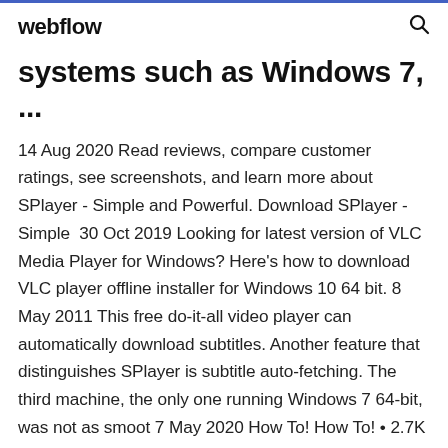webflow
systems such as Windows 7, ...
14 Aug 2020 Read reviews, compare customer ratings, see screenshots, and learn more about SPlayer - Simple and Powerful. Download SPlayer - Simple  30 Oct 2019 Looking for latest version of VLC Media Player for Windows? Here's how to download VLC player offline installer for Windows 10 64 bit. 8 May 2011 This free do-it-all video player can automatically download subtitles. Another feature that distinguishes SPlayer is subtitle auto-fetching. The third machine, the only one running Windows 7 64-bit, was not as smoot 7 May 2020 How To! How To! • 2.7K views 6 months ago. 11